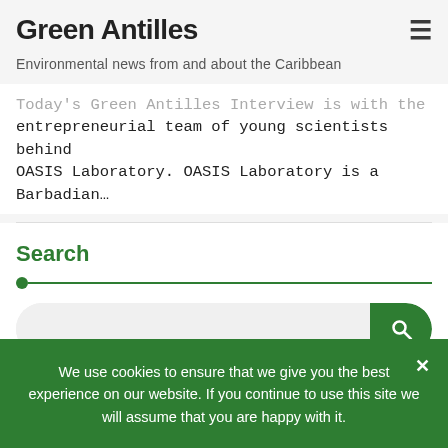Green Antilles
Environmental news from and about the Caribbean
Today's Green Antilles Interview is with the entrepreneurial team of young scientists behind OASIS Laboratory. OASIS Laboratory is a Barbadian…
Search
[Figure (screenshot): Search bar with green search button and magnifying glass icon]
Recent posts
We use cookies to ensure that we give you the best experience on our website. If you continue to use this site we will assume that you are happy with it.